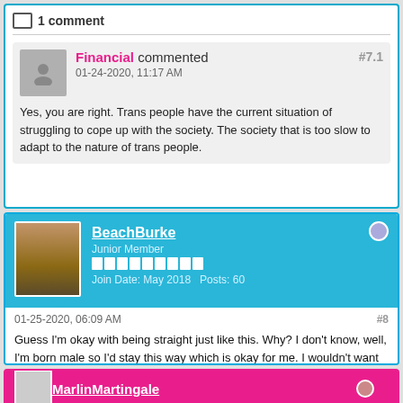1 comment
Financial commented 01-24-2020, 11:17 AM #7.1
Yes, you are right. Trans people have the current situation of struggling to cope up with the society. The society that is too slow to adapt to the nature of trans people.
BeachBurke Junior Member Join Date: May 2018 Posts: 60
01-25-2020, 06:09 AM #8
Guess I'm okay with being straight just like this. Why? I don't know, well, I'm born male so I'd stay this way which is okay for me. I wouldn't want to shift or change myself because this is who and what I really am.
MarlinMartingale